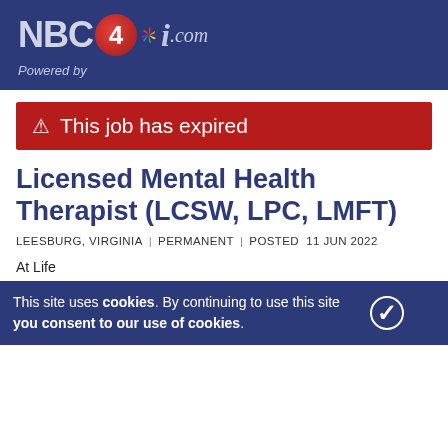NBC 4i .com — Powered by
⚠ This job has expired
Licensed Mental Health Therapist (LCSW, LPC, LMFT)
LEESBURG, VIRGINIA | PERMANENT | POSTED 11 JUN 2022
At LifeStance Health we strive to help individuals, families and communities with their mental health needs. Every day. It is a lofty goal, we know. But we make it happen with the best team in mental
This site uses cookies. By continuing to use this site you consent to our use of cookies.